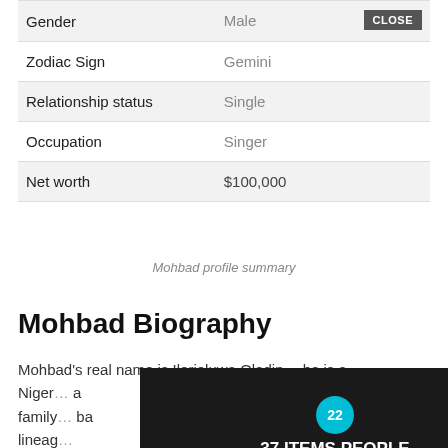|  |  |
| --- | --- |
| Gender | Male |
| Zodiac Sign | Gemini |
| Relationship status | Single |
| Occupation | Singer |
| Net worth | $100,000 |
Mohbad profile summary
Mohbad Biography
Mohbad's real name is Ilerioluwa Oladin[...] he is a Niger[...] a family [...] ba lineag[...]
[Figure (screenshot): Advertisement overlay showing '37 ITEMS PEOPLE LOVE TO PURCHASE ON AMAZON' with a teal circle showing '22', CLOSE button and X button, over a dark food/kitchen knife background image.]